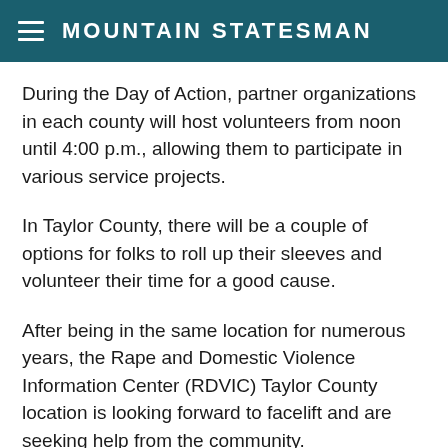MOUNTAIN STATESMAN
During the Day of Action, partner organizations in each county will host volunteers from noon until 4:00 p.m., allowing them to participate in various service projects.
In Taylor County, there will be a couple of options for folks to roll up their sleeves and volunteer their time for a good cause.
After being in the same location for numerous years, the Rape and Domestic Violence Information Center (RDVIC) Taylor County location is looking forward to facelift and are seeking help from the community.
“We have been in the same location in Grafton for